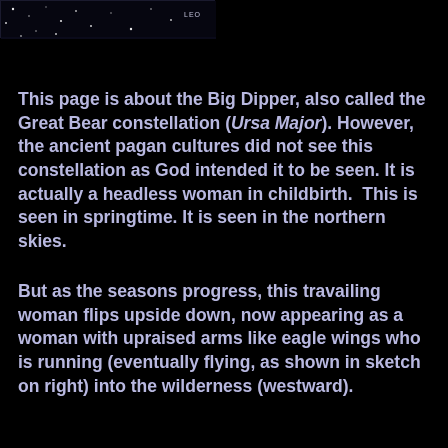[Figure (photo): Dark star field image with constellation markings, showing 'LEO' text label, star dots visible against black background]
This page is about the Big Dipper, also called the Great Bear constellation (Ursa Major). However, the ancient pagan cultures did not see this constellation as God intended it to be seen. It is actually a headless woman in childbirth.  This is seen in springtime. It is seen in the northern skies.
But as the seasons progress, this travailing woman flips upside down, now appearing as a woman with upraised arms like eagle wings who is running (eventually flying, as shown in sketch on right) into the wilderness (westward).